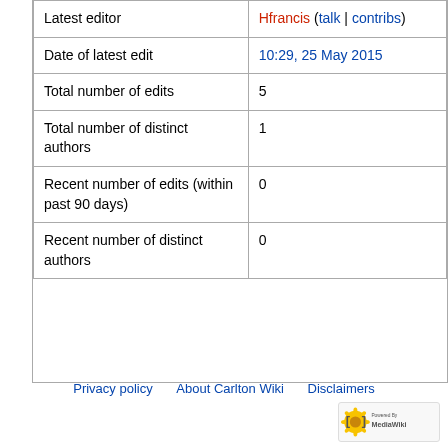| Latest editor | Hfrancis (talk | contribs) |
| Date of latest edit | 10:29, 25 May 2015 |
| Total number of edits | 5 |
| Total number of distinct authors | 1 |
| Recent number of edits (within past 90 days) | 0 |
| Recent number of distinct authors | 0 |
Privacy policy   About Carlton Wiki   Disclaimers